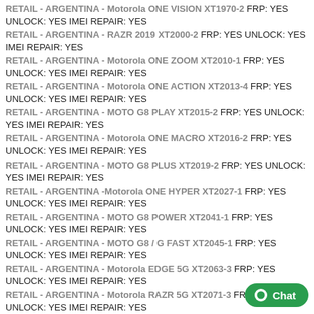RETAIL - ARGENTINA - Motorola ONE VISION XT1970-2 FRP: YES UNLOCK: YES IMEI REPAIR: YES
RETAIL - ARGENTINA - RAZR 2019 XT2000-2 FRP: YES UNLOCK: YES IMEI REPAIR: YES
RETAIL - ARGENTINA - Motorola ONE ZOOM XT2010-1 FRP: YES UNLOCK: YES IMEI REPAIR: YES
RETAIL - ARGENTINA - Motorola ONE ACTION XT2013-4 FRP: YES UNLOCK: YES IMEI REPAIR: YES
RETAIL - ARGENTINA - MOTO G8 PLAY XT2015-2 FRP: YES UNLOCK: YES IMEI REPAIR: YES
RETAIL - ARGENTINA - Motorola ONE MACRO XT2016-2 FRP: YES UNLOCK: YES IMEI REPAIR: YES
RETAIL - ARGENTINA - MOTO G8 PLUS XT2019-2 FRP: YES UNLOCK: YES IMEI REPAIR: YES
RETAIL - ARGENTINA -Motorola ONE HYPER XT2027-1 FRP: YES UNLOCK: YES IMEI REPAIR: YES
RETAIL - ARGENTINA - MOTO G8 POWER XT2041-1 FRP: YES UNLOCK: YES IMEI REPAIR: YES
RETAIL - ARGENTINA - MOTO G8 / G FAST XT2045-1 FRP: YES UNLOCK: YES IMEI REPAIR: YES
RETAIL - ARGENTINA - Motorola EDGE 5G XT2063-3 FRP: YES UNLOCK: YES IMEI REPAIR: YES
RETAIL - ARGENTINA - Motorola RAZR 5G XT2071-3 FRP: YES UNLOCK: YES IMEI REPAIR: YES
RETAIL - ARGENTINA -Motorola ONE FUSION XT2073-2 FRP: YES UNLOCK: YES IMEI REPAIR: YES